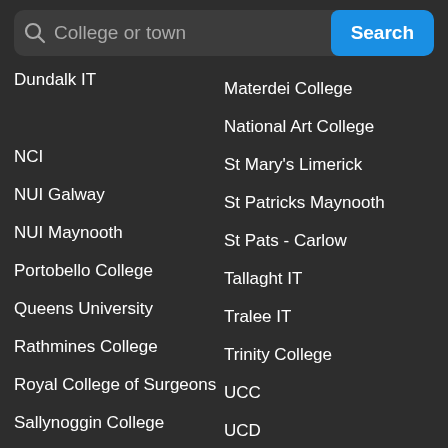[Figure (screenshot): Search bar with magnifying glass icon, placeholder text 'College or town', and blue 'Search' button]
Dundalk IT
Materdei College
National Art College
NCI
St Mary's Limerick
NUI Galway
St Patricks Maynooth
NUI Maynooth
St Pats - Carlow
Portobello College
Tallaght IT
Queens University
Tralee IT
Rathmines College
Trinity College
Royal College of Surgeons
UCC
Sallynoggin College
UCD
Shannon College
UL
Sligo IT
Ulster University
St Johns College Cork
Waterford IT